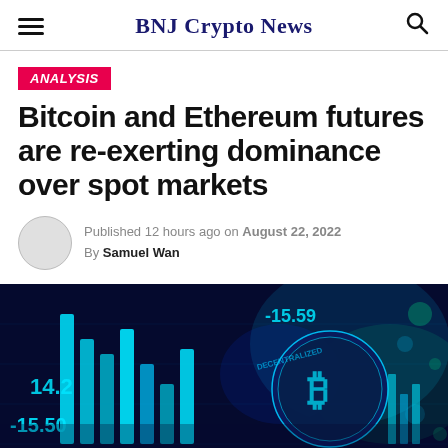BNJ Crypto News
ANALYSIS
Bitcoin and Ethereum futures are re-exerting dominance over spot markets
Published 12 hours ago on August 22, 2022
By Samuel Wan
[Figure (photo): Cryptocurrency trading chart with Bitcoin coin and glowing green/teal market data bars and numbers, showing -15.50 and -15.59 values on a dark digital background]